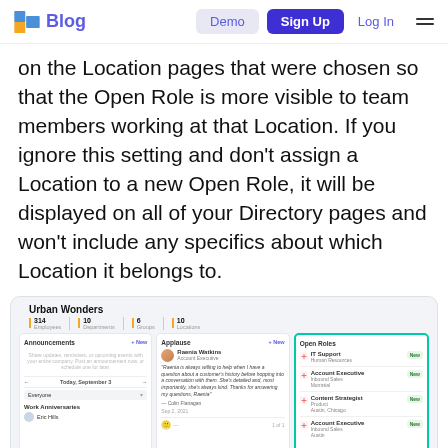Blog | Demo | Sign Up | Log In
on the Location pages that were chosen so that the Open Role is more visible to team members working at that Location. If you ignore this setting and don't assign a Location to a new Open Role, it will be displayed on all of your Directory pages and won't include any specifics about which Location it belongs to.
[Figure (screenshot): Screenshot of a company directory dashboard called 'Urban Wonders' showing stats (314 Employees, 10 Departments, 6 Groups, 10 Locations) and dashboard panels for Announcements, Applause, and Open Roles. The Open Roles panel is highlighted with a teal border and shows roles: IT Support (Human Resources), Account Executive (Inbound Sales, Montréal), Content Strategist (Product, Austin Chicago), Account Executive (Inbound Sales, Austin) — each tagged New.]